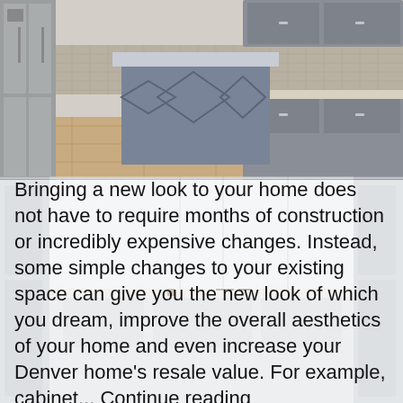[Figure (photo): Kitchen interior with a blue/gray island featuring diamond geometric panel design, granite countertop, stainless steel refrigerator on left, gray cabinets along the back wall, wood-look tile flooring.]
[Figure (photo): Background kitchen with white cabinets and light marble-look walls visible behind overlaid text.]
Bringing a new look to your home does not have to require months of construction or incredibly expensive changes. Instead, some simple changes to your existing space can give you the new look of which you dream, improve the overall aesthetics of your home and even increase your Denver home's resale value. For example, cabinet... Continue reading